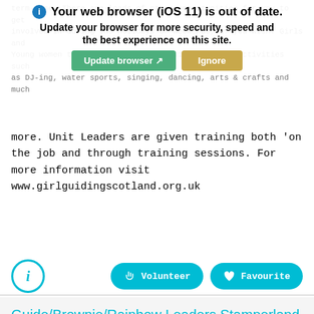[Figure (screenshot): Browser warning overlay: 'Your web browser (iOS 11) is out of date. Update your browser for more security, speed and the best experience on this site.' with 'Update browser' (green) and 'Ignore' (gold) buttons, over background text about Girlguiding Scotland volunteering.]
more. Unit Leaders are given training both 'on the job and through training sessions. For more information visit www.girlguidingscotland.org.uk
Guide/Brownie/Rainbow Leaders Stamperland
There are thousands of possibilities available to you through Girlguiding Scotland. Leadership, skills, challenges and adventures are all found and made whilst with Girlguiding Scotland. There are waiting lists for girls to join Units in the Guides, Brownies and Rainbows because they need more adult volunteers throughout Scotland. Leaders can participate in a